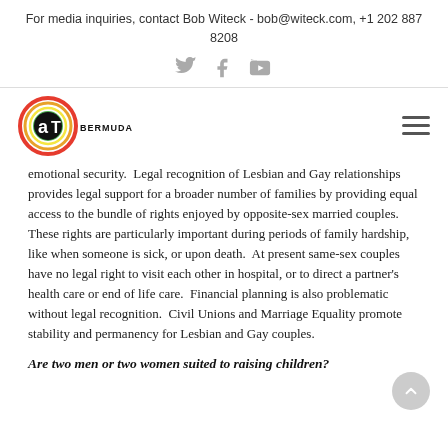For media inquiries, contact Bob Witeck - bob@witeck.com, +1 202 887 8208
[Figure (logo): Out Bermuda logo with rainbow circle and 'aT BERMUDA' text]
emotional security.  Legal recognition of Lesbian and Gay relationships provides legal support for a broader number of families by providing equal access to the bundle of rights enjoyed by opposite-sex married couples.  These rights are particularly important during periods of family hardship, like when someone is sick, or upon death.  At present same-sex couples have no legal right to visit each other in hospital, or to direct a partner's health care or end of life care.  Financial planning is also problematic without legal recognition.  Civil Unions and Marriage Equality promote stability and permanency for Lesbian and Gay couples.
Are two men or two women suited to raising children?